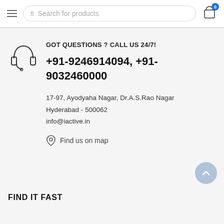Search for products
GOT QUESTIONS ? CALL US 24/7!
+91-9246914094, +91-9032460000
17-97, Ayodyaha Nagar, Dr.A.S.Rao Nagar
Hyderabad - 500062
info@iactive.in
Find us on map
FIND IT FAST